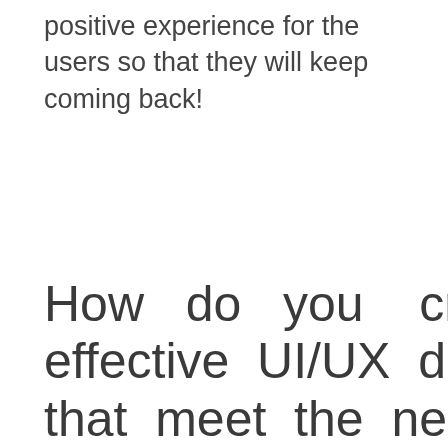positive experience for the users so that they will keep coming back!
How do you create effective UI/UX designs that meet the needs of